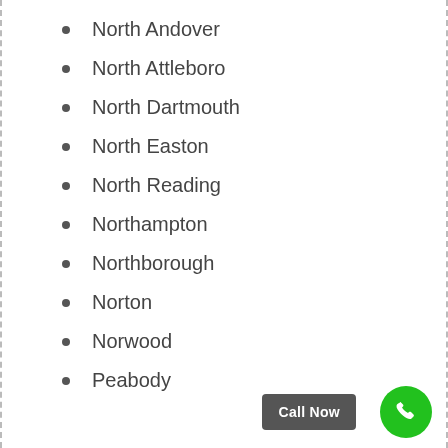North Andover
North Attleboro
North Dartmouth
North Easton
North Reading
Northampton
Northborough
Norton
Norwood
Peabody